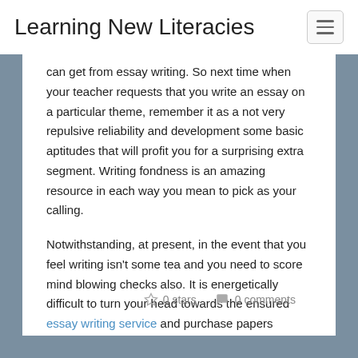Learning New Literacies
can get from essay writing. So next time when your teacher requests that you write an essay on a particular theme, remember it as a not very repulsive reliability and development some basic aptitudes that will profit you for a surprising extra segment. Writing fondness is an amazing resource in each way you mean to pick as your calling.
Notwithstanding, at present, in the event that you feel writing isn't some tea and you need to score mind blowing checks also. It is energetically difficult to turn your head towards the ensured essay writing service and purchase papers concerning each issue on the web.
0 stars   0 comments